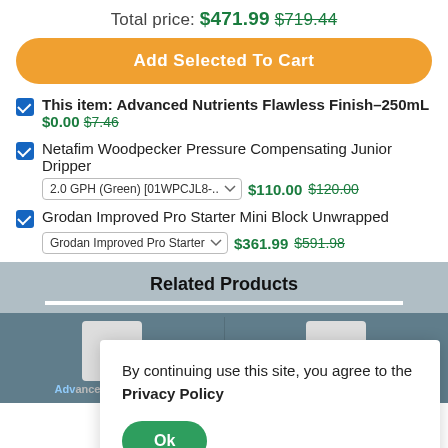Total price: $471.99 $719.44
Add Selected To Cart
This item: Advanced Nutrients Flawless Finish-250mL $0.00 $7.46
Netafim Woodpecker Pressure Compensating Junior Dripper 2.0 GPH (Green) [01WPCJL8-... $110.00 $120.00
Grodan Improved Pro Starter Mini Block Unwrapped Grodan Improved Pro Starter $361.99 $591.98
Related Products
By continuing use this site, you agree to the Privacy Policy
Ok
Advanced Nutrients S
Advanced Nutrients B